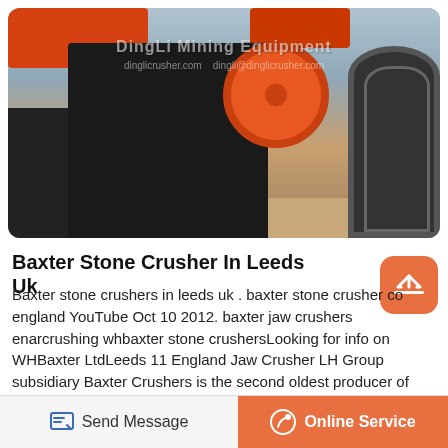[Figure (photo): Industrial stone crusher machine with prominent orange flywheel, black heavy machinery body, with DingLi Mining Equipment watermark. Multiple large crushing machines visible in an outdoor yard.]
Baxter Stone Crusher In Leeds Uk
Baxter stone crushers in leeds uk . baxter stone crusher co england YouTube Oct 10 2012. baxter jaw crushers enarcrushing whbaxter stone crushersLooking for info on WHBaxter LtdLeeds 11 England Jaw Crusher LH Group subsidiary Baxter Crushers is the second oldest producer of stone crushers in thestone crushers made in england.
Send Message   Online Service